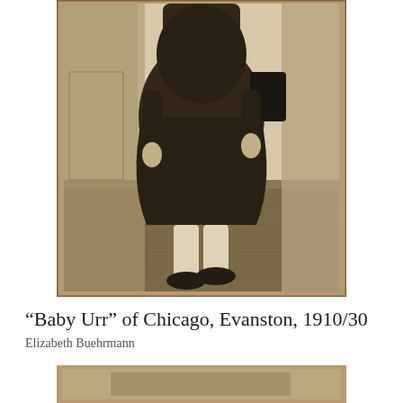[Figure (photo): Vintage sepia/black-and-white photograph of a young child in a dark dress standing in a doorway or hallway, wearing white socks and dark shoes. The photo has a brown/tan border characteristic of early 20th century photographs.]
“Baby Urr” of Chicago, Evanston, 1910/30
Elizabeth Buehrmann
[Figure (photo): Partial view of another vintage photograph visible at the bottom of the page, showing the top portion of what appears to be another early 20th century image.]